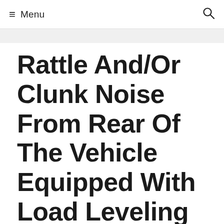≡ Menu  🔍
Rattle And/Or Clunk Noise From Rear Of The Vehicle Equipped With Load Leveling Suspension – 2011-